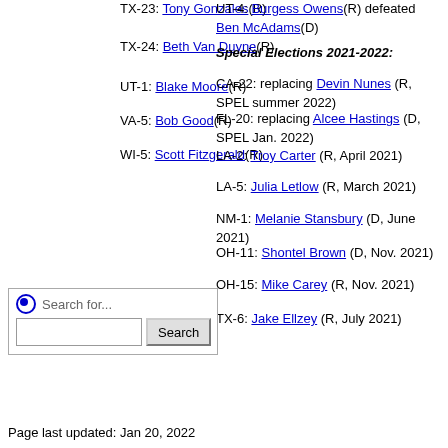TX-23: Tony Gonzales(R)
TX-24: Beth Van Duyne(R)
UT-1: Blake Moore(R)
VA-5: Bob Good(R)
WI-5: Scott Fitzgerald(R)
UT-4: Burgess Owens(R) defeated Ben McAdams(D)
Special Elections 2021-2022:
CA-22: replacing Devin Nunes (R, SPEL summer 2022)
FL-20: replacing Alcee Hastings (D, SPEL Jan. 2022)
LA-2: Troy Carter (R, April 2021)
LA-5: Julia Letlow (R, March 2021)
NM-1: Melanie Stansbury (D, June 2021)
OH-11: Shontel Brown (D, Nov. 2021)
OH-15: Mike Carey (R, Nov. 2021)
TX-6: Jake Ellzey (R, July 2021)
[Figure (other): Search widget with radio button labeled 'Search for...', a text input field, and a Search button]
Page last updated: Jan 20, 2022